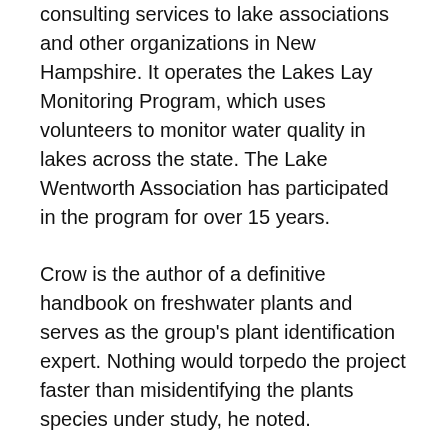consulting services to lake associations and other organizations in New Hampshire. It operates the Lakes Lay Monitoring Program, which uses volunteers to monitor water quality in lakes across the state. The Lake Wentworth Association has participated in the program for over 15 years.
Crow is the author of a definitive handbook on freshwater plants and serves as the group's plant identification expert. Nothing would torpedo the project faster than misidentifying the plants species under study, he noted.
The Hubbard Center for Genome Studies,